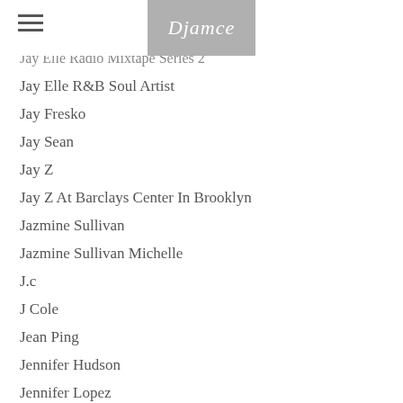Djamce
Jay Elle Radio Mixtape Series 2
Jay Elle R&B Soul Artist
Jay Fresko
Jay Sean
Jay Z
Jay Z At Barclays Center In Brooklyn
Jazmine Sullivan
Jazmine Sullivan Michelle
J.c
J Cole
Jean Ping
Jennifer Hudson
Jennifer Lopez
Jerrod
Jewelry
JewelryKind.com
Jhon Ashford Shoes